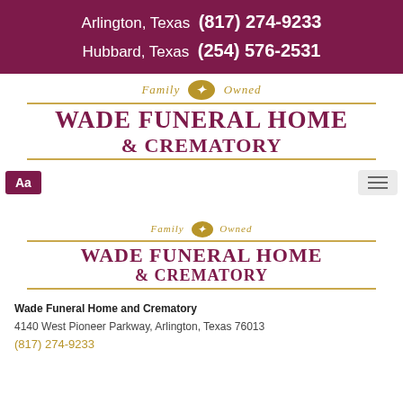Arlington, Texas (817) 274-9233
Hubbard, Texas (254) 576-2531
[Figure (logo): Wade Funeral Home & Crematory logo with 'Family Owned' tagline, fleur-de-lis in oval, and horizontal gold lines]
Aa
[Figure (logo): Wade Funeral Home & Crematory logo (smaller version) with 'Family Owned' tagline, fleur-de-lis in oval, and horizontal gold lines]
Wade Funeral Home and Crematory
4140 West Pioneer Parkway, Arlington, Texas 76013
(817) 274-9233